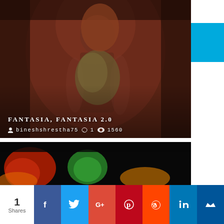[Figure (photo): Photo of a woman from behind holding a bouquet of wildflowers, warm brownish-red tones, artistic portrait]
FANTASIA, FANTASIA 2.0
bineshshrestha75  1  1560
[Figure (photo): Dark bokeh photo with colorful heart-shaped blurred lights in red, green, orange on black background]
1 Shares